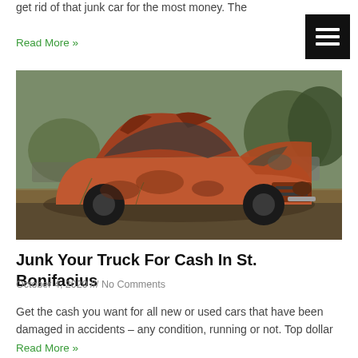get rid of that junk car for the most money. The
Read More »
[Figure (photo): A heavily damaged and rusted orange/red junk car (classic muscle car, possibly Ford Mustang) sitting in an outdoor junkyard surrounded by dry grass and trees, with crushed roof and missing engine parts.]
Junk Your Truck For Cash In St. Bonifacius
October 4, 2020 /// No Comments
Get the cash you want for all new or used cars that have been damaged in accidents – any condition, running or not. Top dollar
Read More »